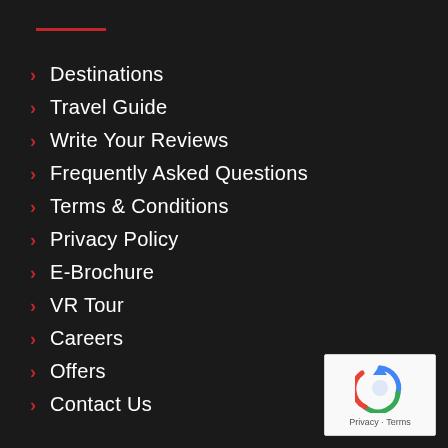Destinations
Travel Guide
Write Your Reviews
Frequently Asked Questions
Terms & Conditions
Privacy Policy
E-Brochure
VR Tour
Careers
Offers
Contact Us
[Figure (logo): Google reCAPTCHA widget with icon and Privacy · Terms links]